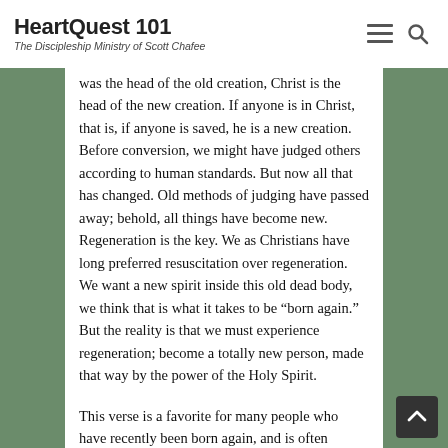HeartQuest 101 — The Discipleship Ministry of Scott Chafee
was the head of the old creation, Christ is the head of the new creation. If anyone is in Christ, that is, if anyone is saved, he is a new creation. Before conversion, we might have judged others according to human standards. But now all that has changed. Old methods of judging have passed away; behold, all things have become new. Regeneration is the key. We as Christians have long preferred resuscitation over regeneration. We want a new spirit inside this old dead body, we think that is what it takes to be “born again.” But the reality is that we must experience regeneration; become a totally new person, made that way by the power of the Holy Spirit.
This verse is a favorite for many people who have recently been born again, and is often quoted in their personal testimony. Sometimes it gives quite a false impression. Listeners are apt to think that when a man is saved, old habits, evil thoughts, and lustful looks are